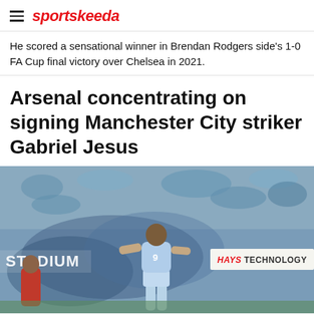sportskeeda
He scored a sensational winner in Brendan Rodgers side's 1-0 FA Cup final victory over Chelsea in 2021.
Arsenal concentrating on signing Manchester City striker Gabriel Jesus
[Figure (photo): Gabriel Jesus (number 9) in a light blue Manchester City kit celebrating on the pitch, with blue smoke/flares in background and STADIUM signage and HAYS TECHNOLOGY banner visible, crowd in attendance]